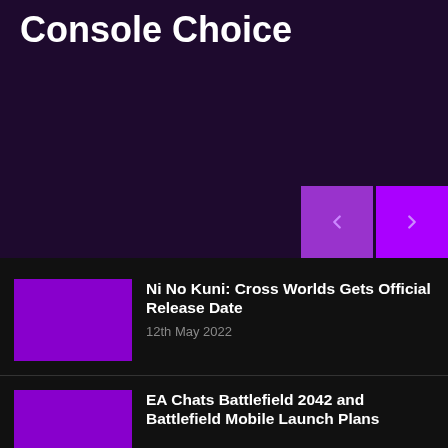[Figure (illustration): Dark purple hero banner with title text about Console Choice and navigation arrow buttons]
Console Choice
[Figure (illustration): Purple thumbnail image for Ni No Kuni article]
Ni No Kuni: Cross Worlds Gets Official Release Date
12th May 2022
[Figure (illustration): Purple thumbnail image for EA Chats Battlefield article]
EA Chats Battlefield 2042 and Battlefield Mobile Launch Plans